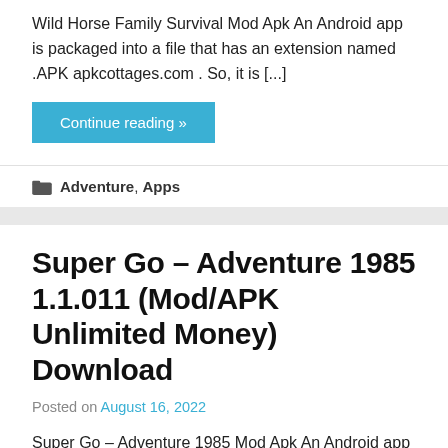Wild Horse Family Survival Mod Apk An Android app is packaged into a file that has an extension named .APK apkcottages.com . So, it is [...]
Continue reading »
Adventure, Apps
Super Go – Adventure 1985 1.1.011 (Mod/APK Unlimited Money) Download
Posted on August 16, 2022
Super Go – Adventure 1985 Mod Apk An Android app is packaged into a file that has an extension named .APK apkcottages.com . So, it [...]